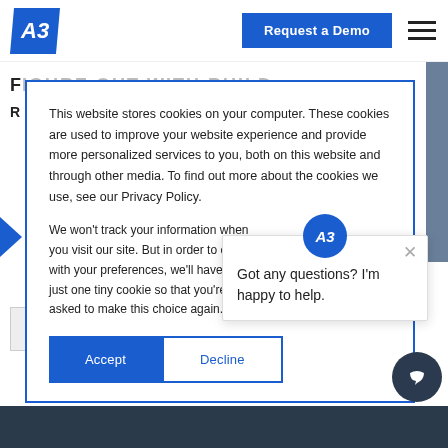[Figure (screenshot): Navigation bar with AB3 logo (blue), 'Request a Demo' blue button, and hamburger menu icon]
This website stores cookies on your computer. These cookies are used to improve your website experience and provide more personalized services to you, both on this website and through other media. To find out more about the cookies we use, see our Privacy Policy.
We won't track your information when you visit our site. But in order to comply with your preferences, we'll have to use just one tiny cookie so that you're not asked to make this choice again.
Got any questions? I'm happy to help.